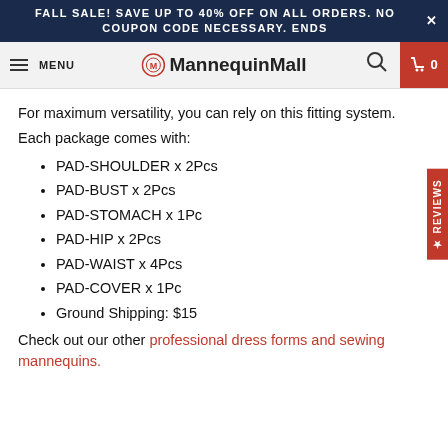FALL SALE! SAVE UP TO 40% OFF ON ALL ORDERS. NO COUPON CODE NECESSARY. ENDS
MENU | MannequinMall | cart 0
For maximum versatility, you can rely on this fitting system.
Each package comes with:
PAD-SHOULDER x 2Pcs
PAD-BUST x 2Pcs
PAD-STOMACH x 1Pc
PAD-HIP x 2Pcs
PAD-WAIST x 4Pcs
PAD-COVER x 1Pc
Ground Shipping: $15
Check out our other professional dress forms and sewing mannequins.